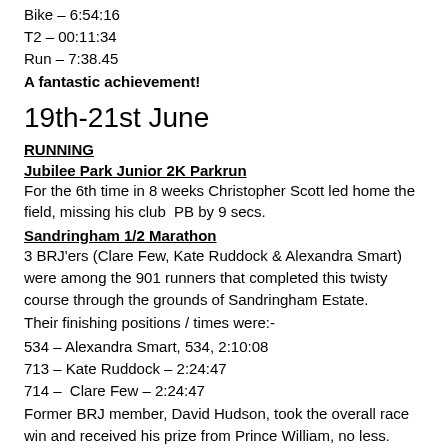Bike – 6:54:16
T2 – 00:11:34
Run – 7:38.45
A fantastic achievement!
19th-21st June
RUNNING
Jubilee Park Junior 2K Parkrun
For the 6th time in 8 weeks Christopher Scott led home the field, missing his club PB by 9 secs.
Sandringham 1/2 Marathon
3 BRJ'ers (Clare Few, Kate Ruddock & Alexandra Smart) were among the 901 runners that completed this twisty course through the grounds of Sandringham Estate.
Their finishing positions / times were:-
534 – Alexandra Smart, 534, 2:10:08
713 – Kate Ruddock – 2:24:47
714 –  Clare Few – 2:24:47
Former BRJ member, David Hudson, took the overall race win and received his prize from Prince William, no less.
"Run to the King" Ultra Marathon
In her debut Ultra, Felicity Baillie successfully completed the "Run to the King" Ultra Marathon. The race was run over a